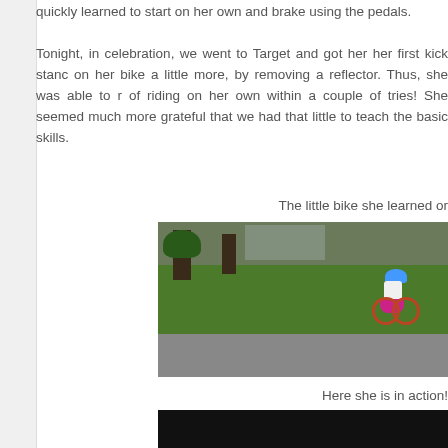quickly learned to start on her own and brake using the pedals. Tonight, in celebration, we went to Target and got her her first kick stand on her bike a little more, by removing a reflector. Thus, she was able to ride of riding on her own within a couple of tries! She seemed much more grateful that we had that little to teach the basic skills.
The little bike she learned on
[Figure (photo): A young girl wearing a blue helmet and pink skirt riding a small red bike on a curved path in a park with green grass and trees.]
Here she is in action!
[Figure (photo): A dark/black image, beginning of second photo cropped at page bottom.]